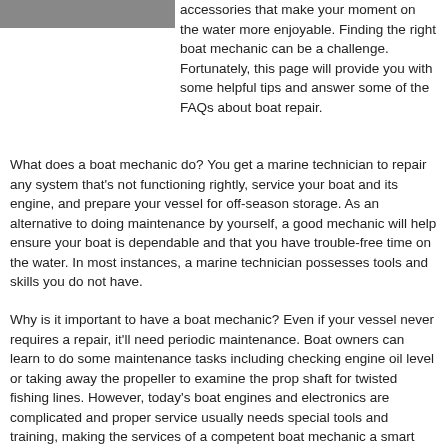[Figure (photo): Partial image of a boat or water scene, cropped at top left]
accessories that make your moment on the water more enjoyable. Finding the right boat mechanic can be a challenge. Fortunately, this page will provide you with some helpful tips and answer some of the FAQs about boat repair.
What does a boat mechanic do? You get a marine technician to repair any system that's not functioning rightly, service your boat and its engine, and prepare your vessel for off-season storage. As an alternative to doing maintenance by yourself, a good mechanic will help ensure your boat is dependable and that you have trouble-free time on the water. In most instances, a marine technician possesses tools and skills you do not have.
Why is it important to have a boat mechanic? Even if your vessel never requires a repair, it'll need periodic maintenance. Boat owners can learn to do some maintenance tasks including checking engine oil level or taking away the propeller to examine the prop shaft for twisted fishing lines. However, today's boat engines and electronics are complicated and proper service usually needs special tools and training, making the services of a competent boat mechanic a smart investment. At the very least, your vessel will need yearly maintenance